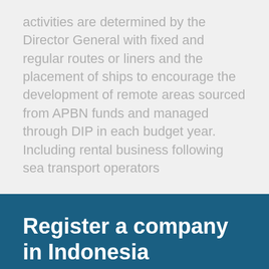activities are determined by the Director General with fixed and regular routes or liners and the placement of ships to encourage the development of remote areas sourced from APBN funds and managed through DIP in each budget year. Including rental business following sea transport operators
Register a company in Indonesia
Fill in the form below and have a company registered in Indonesia in five working